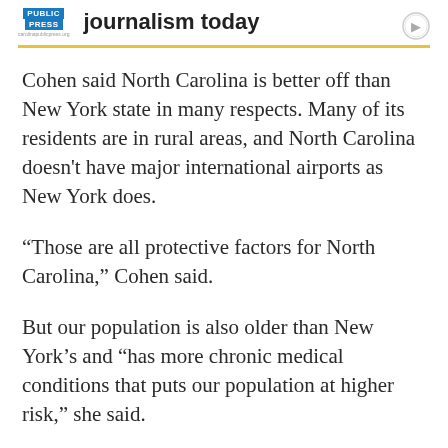Carolina Public Press – journalism today
Cohen said North Carolina is better off than New York state in many respects. Many of its residents are in rural areas, and North Carolina doesn't have major international airports as New York does.
“Those are all protective factors for North Carolina,” Cohen said.
But our population is also older than New York’s and “has more chronic medical conditions that puts our population at higher risk,” she said.